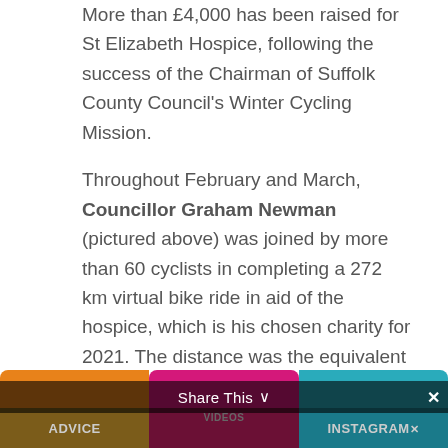More than £4,000 has been raised for St Elizabeth Hospice, following the success of the Chairman of Suffolk County Council's Winter Cycling Mission.
Throughout February and March, Councillor Graham Newman (pictured above) was joined by more than 60 cyclists in completing a 272 km virtual bike ride in aid of the hospice, which is his chosen charity for 2021. The distance was the equivalent
ADVICE | VIDEOS | INSTAGRAM